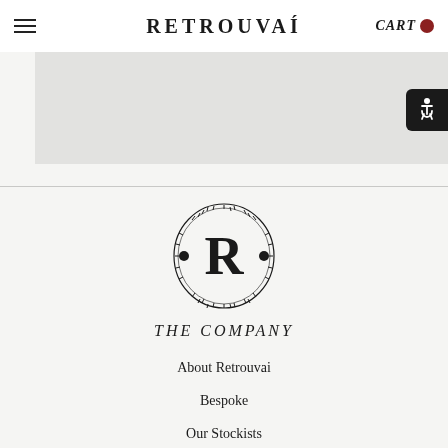RETROUVAÍ  CART
[Figure (logo): Retrouvai oval logo emblem with ornate border and large R letter in center, flanked by two black circular dots]
THE COMPANY
About Retrouvai
Bespoke
Our Stockists